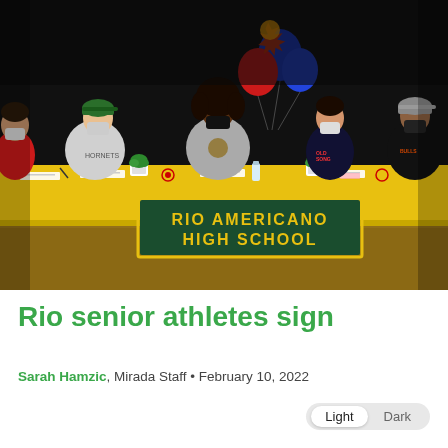[Figure (photo): Five masked high school students seated at a long table covered with a yellow tablecloth and a dark green banner reading 'RIO AMERICANO HIGH SCHOOL' in gold letters. Red and blue balloons decorate the center-back of the table. The students are in a gymnasium or auditorium with a dark curtain backdrop. Each student has papers in front of them, representing a college signing day ceremony.]
Rio senior athletes sign
Sarah Hamzic, Mirada Staff • February 10, 2022